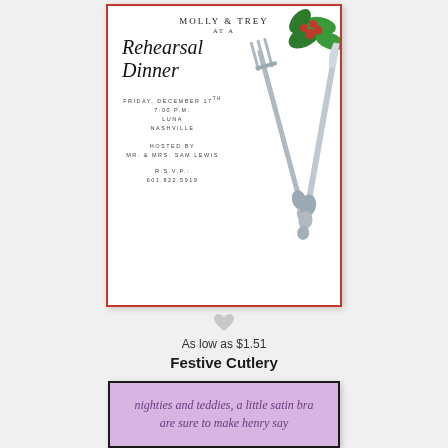[Figure (illustration): Rehearsal dinner invitation card with decorative silver cutlery (fork and knife) adorned with holly berries and leaves. White card with red border. Text reads: MOLLY & TREY / AT A / Rehearsal Dinner / FRIDAY, DECEMBER 17TH / 7:00 P.M. / LUNA / NASHVILLE / HOSTED BY / MR. & MRS. SAM LEWIS / R.S.V.P.: 601.822.5919]
As low as $1.51
Festive Cutlery
[Figure (illustration): Partial view of a lavender/purple invitation card with dark border. Italic text reads: nighties and teddies, a little satin bra / are sure to make henry say]